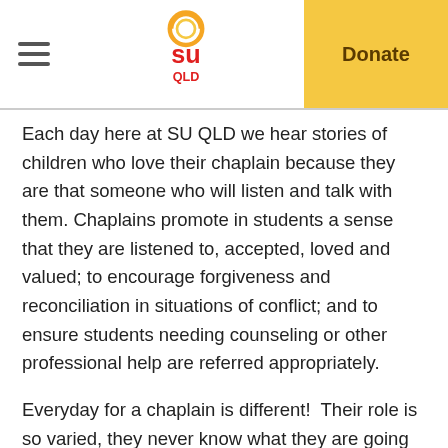SU QLD — Donate
Each day here at SU QLD we hear stories of children who love their chaplain because they are that someone who will listen and talk with them. Chaplains promote in students a sense that they are listened to, accepted, loved and valued; to encourage forgiveness and reconciliation in situations of conflict; and to ensure students needing counseling or other professional help are referred appropriately.
Everyday for a chaplain is different!  Their role is so varied, they never know what they are going to encounter and how they will help.  What we hear echoed by so many chaplains is that they love to just be there when they are needed.  They